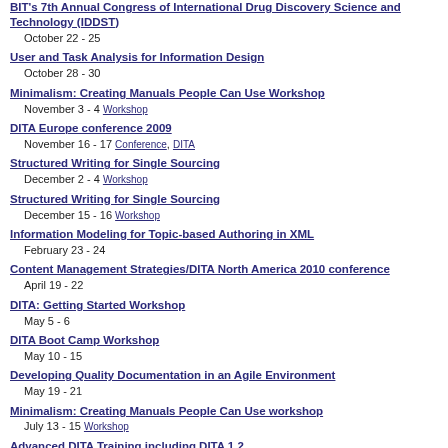BIT's 7th Annual Congress of International Drug Discovery Science and Technology (IDDST)
October 22 - 25
User and Task Analysis for Information Design
October 28 - 30
Minimalism: Creating Manuals People Can Use Workshop
November 3 - 4 Workshop
DITA Europe conference 2009
November 16 - 17 Conference, DITA
Structured Writing for Single Sourcing
December 2 - 4 Workshop
Structured Writing for Single Sourcing
December 15 - 16 Workshop
Information Modeling for Topic-based Authoring in XML
February 23 - 24
Content Management Strategies/DITA North America 2010 conference
April 19 - 22
DITA: Getting Started Workshop
May 5 - 6
DITA Boot Camp Workshop
May 10 - 15
Developing Quality Documentation in an Agile Environment
May 19 - 21
Minimalism: Creating Manuals People Can Use workshop
July 13 - 15 Workshop
Advanced DITA Training including DITA 1.2